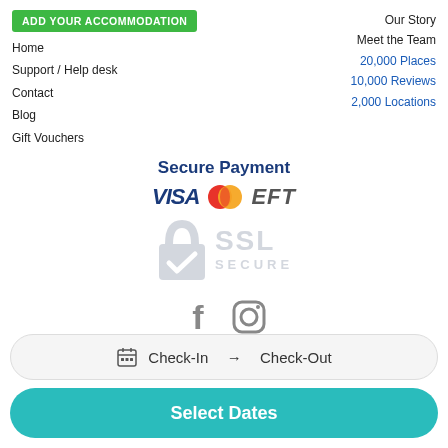ADD YOUR ACCOMMODATION
Home
Support / Help desk
Contact
Blog
Gift Vouchers
Our Story
Meet the Team
20,000 Places
10,000 Reviews
2,000 Locations
Secure Payment
[Figure (logo): VISA, Mastercard, and EFT payment icons, plus an SSL Secure badge with padlock icon]
[Figure (illustration): Facebook and Instagram social media icons]
Check-In → Check-Out
Select Dates